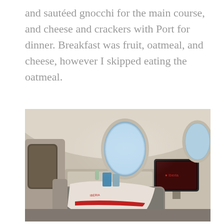and sautéed gnocchi for the main course, and cheese and crackers with Port for dinner. Breakfast was fruit, oatmeal, and cheese, however I skipped eating the oatmeal.
[Figure (photo): Interior of an airplane business class cabin showing a lie-flat seat with a white blanket/pillow on it, a tray table area, an entertainment screen displaying a red interface, and oval windows letting in light. The seat surroundings have beige/cream panels.]